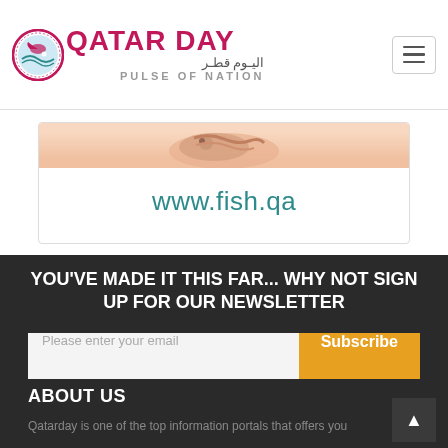[Figure (logo): Qatar Day logo with circular emblem, Arabic text 'اليوم قطر', tagline 'PULSE OF NATION']
[Figure (screenshot): Advertisement banner showing www.fish.qa URL in teal color with fish image at top]
YOU'VE MADE IT THIS FAR... WHY NOT SIGN UP FOR OUR NEWSLETTER
Please enter your email
Subscribe
ABOUT US
Qatarday is one of the top information portals that offers you